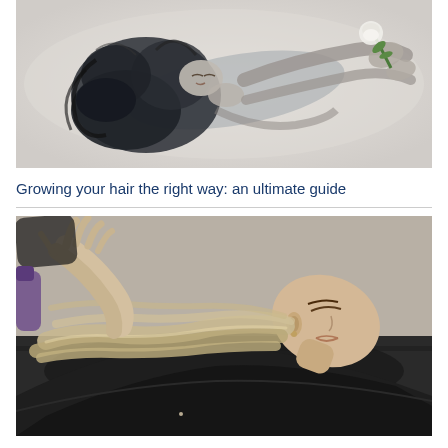[Figure (photo): Black and white artistic photo of a woman lying down with wild dark hair, holding a white rose with green stem, viewed from above]
Growing your hair the right way: an ultimate guide
[Figure (photo): Color photo of a woman at a hair salon getting her hair washed, head tilted back, hands massaging her wet hair, wearing a dark salon cape]
The 5 major factors on which an amazing hair redo depends on